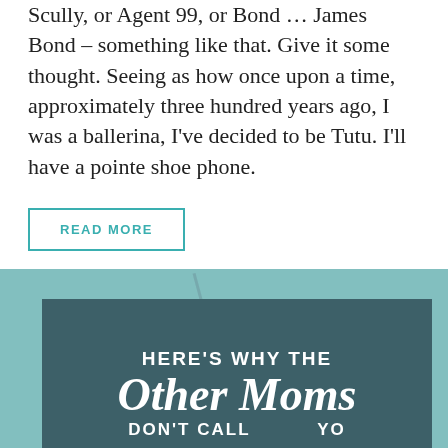Scully, or Agent 99, or Bond … James Bond – something like that. Give it some thought. Seeing as how once upon a time, approximately three hundred years ago, I was a ballerina, I've decided to be Tutu. I'll have a pointe shoe phone.
READ MORE
[Figure (illustration): Dark teal card image with text 'HERE'S WHY THE Other Moms DON'T CALL[S]...' overlaid on a teal background with a subtle diagonal stripe. Social sharing buttons (SMS, Facebook, Pinterest, Reddit, More) visible at bottom right.]